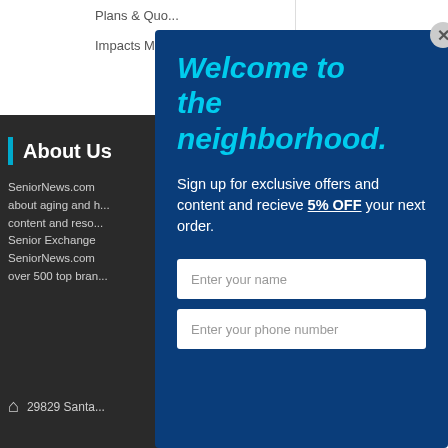Plans & Quo...
Impacts Mec...
About Us
SeniorNews.com about aging and h... content and reso... Senior Exchange SeniorNews.com over 500 top bran...
29829 Santa...
Welcome to the neighborhood.
Sign up for exclusive offers and content and recieve 5% OFF your next order.
Enter your name
Enter your phone number